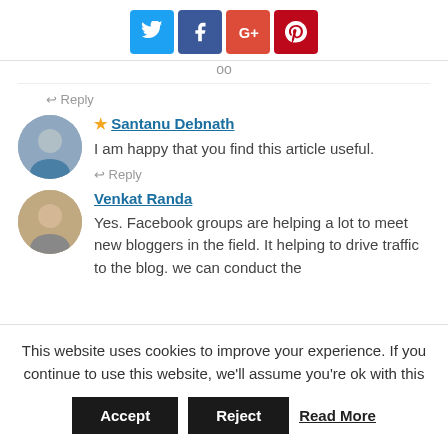[Figure (other): Social sharing icons: Twitter (blue), Facebook (dark blue), Google+ (red), Pinterest (dark red)]
Reply
★ Santanu Debnath — I am happy that you find this article useful.
Reply
Venkat Randa — Yes. Facebook groups are helping a lot to meet new bloggers in the field. It helping to drive traffic to the blog. we can conduct the
This website uses cookies to improve your experience. If you continue to use this website, we'll assume you're ok with this
Accept  Reject  Read More